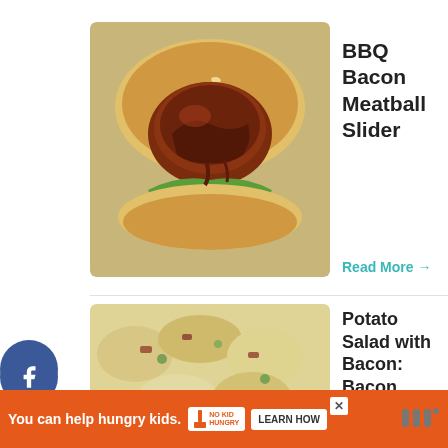[Figure (photo): Photo of a BBQ Bacon Meatball Slider on a bun with lettuce and BBQ sauce]
BBQ Bacon Meatball Slider
Read More →
[Figure (photo): Photo of Potato Salad with Bacon: Bacon Ranch Potato Salad in a close-up]
Potato Salad with Bacon: Bacon Ranch Potato Salad
Read More →
[Figure (photo): Photo of Baked Bean Bacon Cups]
Baked Bean Bacon Cups
You can help hungry kids. NO KID HUNGRY LEARN HOW